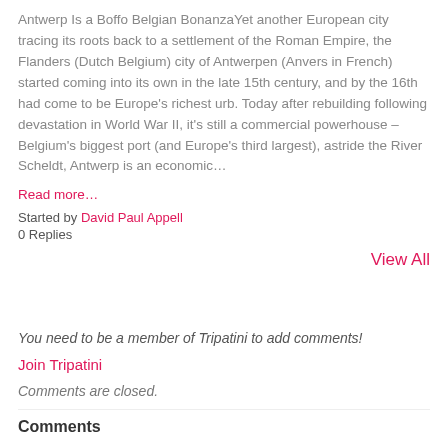Antwerp Is a Boffo Belgian BonanzaYet another European city tracing its roots back to a settlement of the Roman Empire, the Flanders (Dutch Belgium) city of Antwerpen (Anvers in French) started coming into its own in the late 15th century, and by the 16th had come to be Europe's richest urb. Today after rebuilding following devastation in World War II, it's still a commercial powerhouse – Belgium's biggest port (and Europe's third largest), astride the River Scheldt, Antwerp is an economic…
Read more…
Started by David Paul Appell
0 Replies
View All
You need to be a member of Tripatini to add comments!
Join Tripatini
Comments are closed.
Comments
José Balido · June 24, 2022 at 4:25pm
In observance of Pride, The Guardian just came out with a piece on Europe's ten best gay-friendly destinations - and